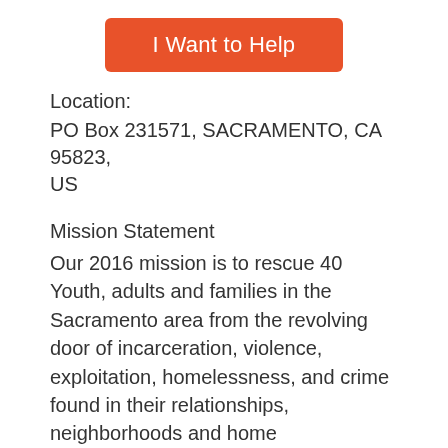[Figure (other): Orange button labeled 'I Want to Help']
Location:
PO Box 231571, SACRAMENTO, CA 95823, US
Mission Statement
Our 2016 mission is to rescue 40 Youth, adults and families in the Sacramento area from the revolving door of incarceration, violence, exploitation, homelessness, and crime found in their relationships, neighborhoods and home environments, our goal is to restore family values, parental confidence and strengthen family bonds. Provide Year Round Feedings, clothing for the homeless, the less fortunate & Sr.